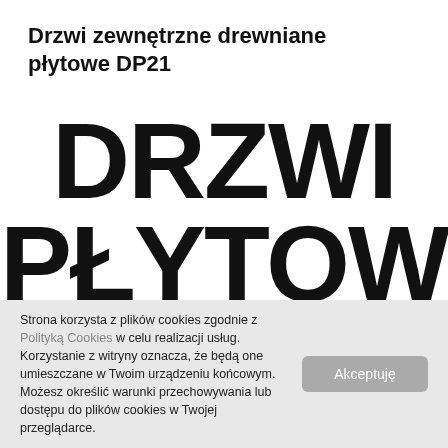Drzwi zewnętrzne drewniane płytowe DP21
[Figure (other): Large bold black text reading DRZWI PŁYTOWE on white background]
Strona korzysta z plików cookies zgodnie z Polityką Cookies w celu realizacji usług. Korzystanie z witryny oznacza, że będą one umieszczane w Twoim urządzeniu końcowym. Możesz określić warunki przechowywania lub dostępu do plików cookies w Twojej przeglądarce.